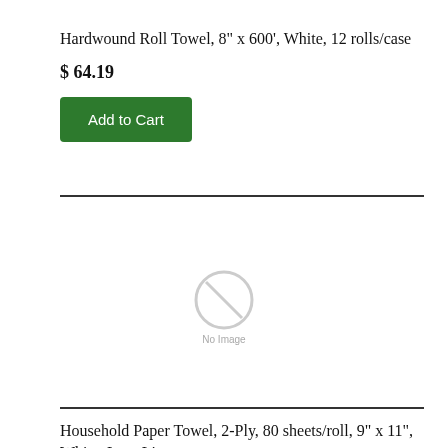Hardwound Roll Towel, 8" x 600', White, 12 rolls/case
$ 64.19
[Figure (other): No Image placeholder icon with text 'No Image']
Household Paper Towel, 2-Ply, 80 sheets/roll, 9" x 11", White, Low-Lint